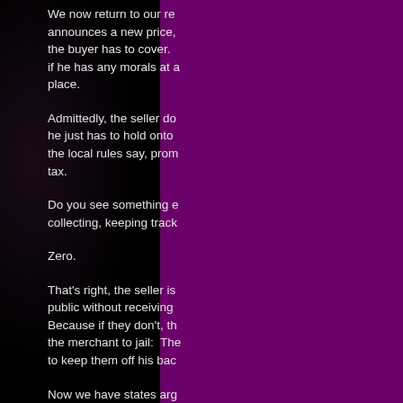We now return to our re... announces a new price, the buyer has to cover... if he has any morals at all place.
Admittedly, the seller do... he just has to hold onto the local rules say, prom... tax.
Do you see something e... collecting, keeping track
Zero.
That's right, the seller is public without receiving Because if they don't, th... the merchant to jail: The to keep them off his bac...
Now we have states arg... over an Internet seller w... merchant in the country consensual unpaid work want to have every busi... jurisdiction a buyer happ...